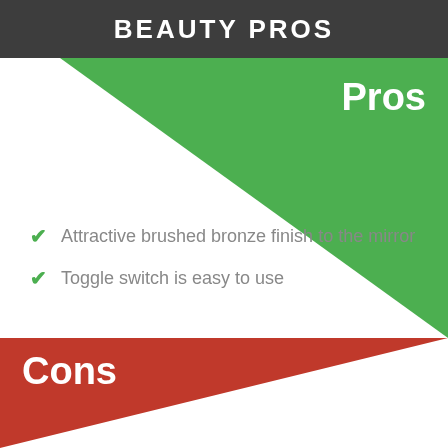BEAUTY PROS
Pros
Attractive brushed bronze finish to the mirror
Toggle switch is easy to use
Cons